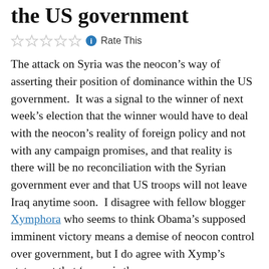the US government
Rate This
The attack on Syria was the neocon's way of asserting their position of dominance within the US government.  It was a signal to the winner of next week's election that the winner would have to deal with the neocon's reality of foreign policy and not with any campaign promises, and that reality is there will be no reconciliation with the Syrian government ever and that US troops will not leave Iraq anytime soon.  I disagree with fellow blogger Xymphora who seems to think Obama's supposed imminent victory means a demise of neocon control over government, but I do agree with Xymp's statement that 'peace is the